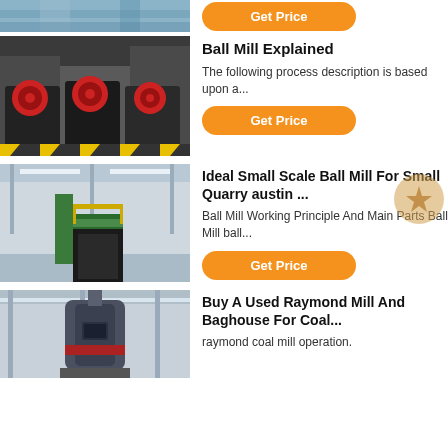[Figure (photo): Partial view of industrial machinery at top of page]
Get Price
[Figure (photo): Ball mill machines with red wheels in an industrial facility]
Ball Mill Explained
The following process description is based upon a...
Get Price
[Figure (photo): Industrial conveyor or mill equipment in large warehouse]
Ideal Small Scale Ball Mill For Small Quarry austin ...
Ball Mill Working Principle And Main Parts Ball Mill ball...
Get Price
[Figure (photo): Raymond mill or similar industrial mill equipment in factory]
Buy A Used Raymond Mill And Baghouse For Coal...
raymond coal mill operation.